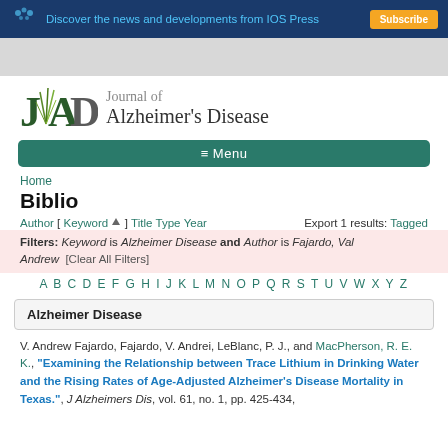Discover the news and developments from IOS Press
[Figure (logo): Journal of Alzheimer's Disease logo with JAD letters and plant motif]
≡ Menu
Home
Biblio
Author [ Keyword ] Title Type Year   Export 1 results: Tagged
Filters: Keyword is Alzheimer Disease and Author is Fajardo, Val Andrew  [Clear All Filters]
A B C D E F G H I J K L M N O P Q R S T U V W X Y Z
Alzheimer Disease
V. Andrew Fajardo, Fajardo, V. Andrei, LeBlanc, P. J., and MacPherson, R. E. K., "Examining the Relationship between Trace Lithium in Drinking Water and the Rising Rates of Age-Adjusted Alzheimer's Disease Mortality in Texas.", J Alzheimers Dis, vol. 61, no. 1, pp. 425-434,